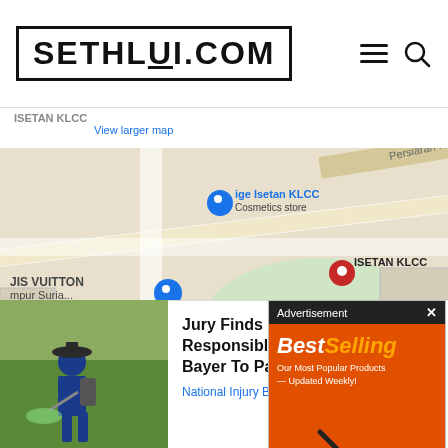SETHLUI.COM
[Figure (map): Google Maps showing ISETAN KLCC area with pins for Isetan KLCC (red pin), LOUIS VUITTON Kuala Lumpur Suria..., Sakana Japanese restaurant, and other landmarks. Shows Persiaran KLCC road label. 'View larger map' link visible. 'Keyboard shortcuts' text at bottom.]
[Figure (infographic): Advertisement overlay with dark header bar labeled 'Advertisement' with X close button. Orange AliExpress BestSelling banner showing 'Best Selling' in bold italic, 'Our Most Popular Products — Updated Weekly!' text, shopping cart with electronics icons, and 'Shop Now >' button at bottom.]
[Figure (photo): Photo of a person in blue jacket and hat spraying pesticide/herbicide on a green field/rice paddy.]
Jury Finds Roundup Responsible For Lymphoma | Bayer To Pay $10 Billion
National Injury Bureau | Sponsored